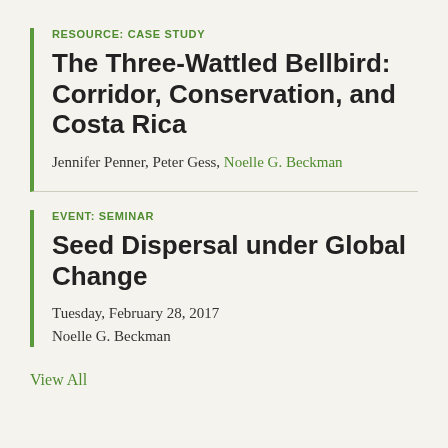RESOURCE: CASE STUDY
The Three-Wattled Bellbird: Corridor, Conservation, and Costa Rica
Jennifer Penner, Peter Gess, Noelle G. Beckman
EVENT: SEMINAR
Seed Dispersal under Global Change
Tuesday, February 28, 2017
Noelle G. Beckman
View All